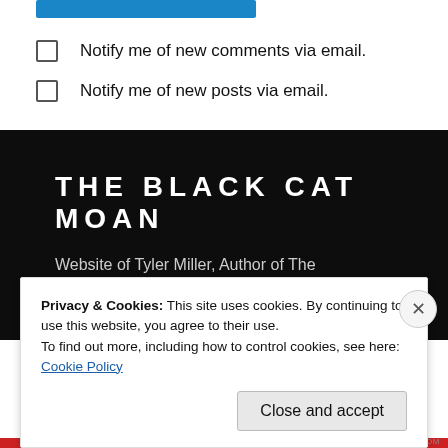Notify me of new comments via email.
Notify me of new posts via email.
THE BLACK CAT MOAN
Website of Tyler Miller, Author of The Nevermore Series
Privacy & Cookies: This site uses cookies. By continuing to use this website, you agree to their use.
To find out more, including how to control cookies, see here:
Cookie Policy
Close and accept